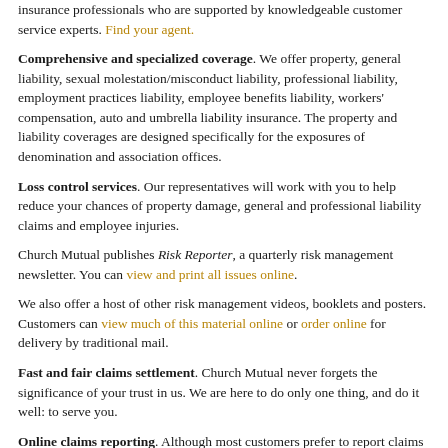insurance professionals who are supported by knowledgeable customer service experts. Find your agent.
Comprehensive and specialized coverage. We offer property, general liability, sexual molestation/misconduct liability, professional liability, employment practices liability, employee benefits liability, workers' compensation, auto and umbrella liability insurance. The property and liability coverages are designed specifically for the exposures of denomination and association offices.
Loss control services. Our representatives will work with you to help reduce your chances of property damage, general and professional liability claims and employee injuries.
Church Mutual publishes Risk Reporter, a quarterly risk management newsletter. You can view and print all issues online.
We also offer a host of other risk management videos, booklets and posters. Customers can view much of this material online or order online for delivery by traditional mail.
Fast and fair claims settlement. Church Mutual never forgets the significance of your trust in us. We are here to do only one thing, and do it well: to serve you.
Online claims reporting. Although most customers prefer to report claims to one of our claims service representatives by phone, we do offer an online option. It's easy and convenient, and you can report claims any time of day or night. More about online claims reporting.